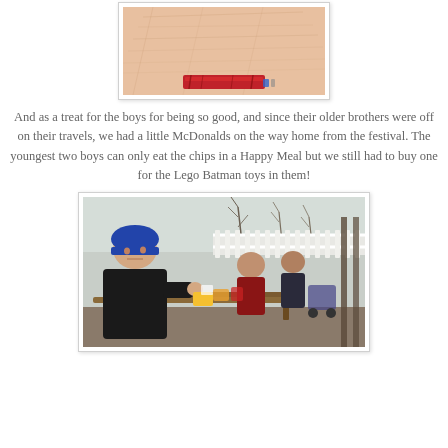[Figure (photo): Close-up photo of a hand/skin with a red bracelet or band visible at the bottom]
And as a treat for the boys for being so good, and since their older brothers were off on their travels, we had a little McDonalds on the way home from the festival. The youngest two boys can only eat the chips in a Happy Meal but we still had to buy one for the Lego Batman toys in them!
[Figure (photo): Photo of children sitting on a bench outdoors, one boy in a blue hat in the foreground, other children visible in the background near a white fence with bare trees]